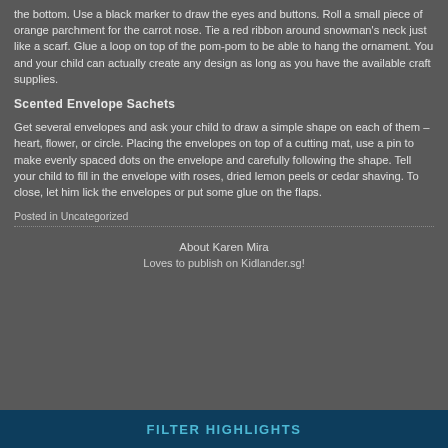the bottom. Use a black marker to draw the eyes and buttons. Roll a small piece of orange parchment for the carrot nose. Tie a red ribbon around snowman's neck just like a scarf. Glue a loop on top of the pom-pom to be able to hang the ornament. You and your child can actually create any design as long as you have the available craft supplies.
Scented Envelope Sachets
Get several envelopes and ask your child to draw a simple shape on each of them – heart, flower, or circle. Placing the envelopes on top of a cutting mat, use a pin to make evenly spaced dots on the envelope and carefully following the shape. Tell your child to fill in the envelope with roses, dried lemon peels or cedar shaving. To close, let him lick the envelopes or put some glue on the flaps.
Posted in Uncategorized
About Karen Mira
Loves to publish on Kidlander.sg!
FILTER HIGHLIGHTS